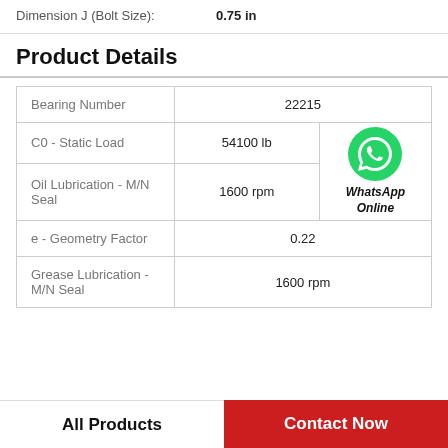Dimension J (Bolt Size): 0.75 in
Product Details
| Property | Value |
| --- | --- |
| Bearing Number | 22215 |
| C0 - Static Load | 54100 lb |
| Oil Lubrication - M/N Seal | 1600 rpm |
| e - Geometry Factor | 0.22 |
| Grease Lubrication - M/N Seal | 1600 rpm |
[Figure (logo): WhatsApp green phone icon with label WhatsApp Online]
All Products
Contact Now